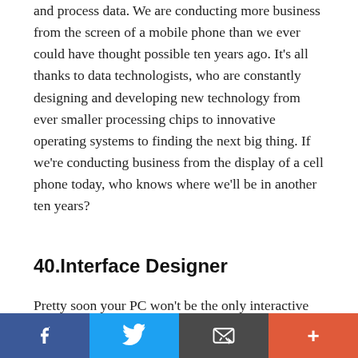and process data. We are conducting more business from the screen of a mobile phone than we ever could have thought possible ten years ago. It's all thanks to data technologists, who are constantly designing and developing new technology from ever smaller processing chips to innovative operating systems to finding the next big thing. If we're conducting business from the display of a cell phone today, who knows where we'll be in another ten years?
40.Interface Designer
Pretty soon your PC won't be the only interactive digital element of your home. It's probably already started with your television, but more scientists are
Facebook | Twitter | Email | +